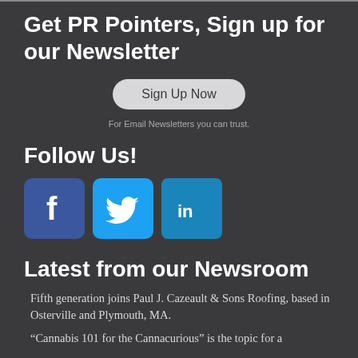Get PR Pointers, Sign up for our Newsletter
Sign Up Now
For Email Newsletters you can trust.
Follow Us!
[Figure (illustration): Social media icons: Facebook (blue square with white 'f'), Twitter (light blue square with white bird), LinkedIn (teal square with white 'in')]
Latest from our Newsroom
Fifth generation joins Paul J. Cazeault & Sons Roofing, based in Osterville and Plymouth, MA.
“Cannabis 101 for the Cannacurious” is the topic for a